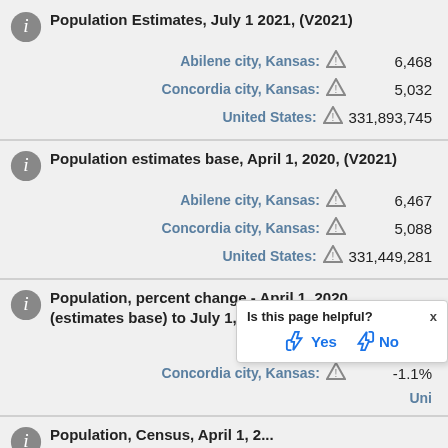Population Estimates, July 1 2021, (V2021)
Abilene city, Kansas: 6,468
Concordia city, Kansas: 5,032
United States: 331,893,745
Population estimates base, April 1, 2020, (V2021)
Abilene city, Kansas: 6,467
Concordia city, Kansas: 5,088
United States: 331,449,281
Population, percent change - April 1, 2020 (estimates base) to July 1, 2021, (V2021)
Abilene city, Kansas: Z
Concordia city, Kansas: -1.1%
United States: (partially obscured)
Population, Census, April 1, 2...